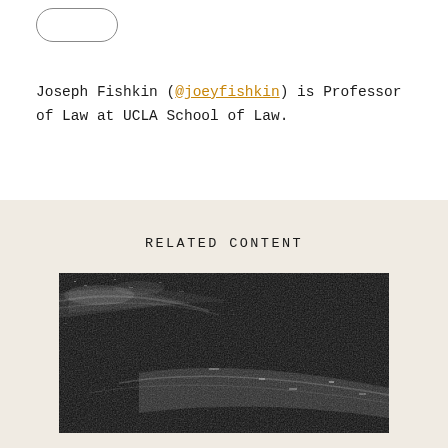[Figure (other): Rounded rectangle avatar/button placeholder outline]
Joseph Fishkin (@joeyfishkin) is Professor of Law at UCLA School of Law.
RELATED CONTENT
[Figure (photo): Black and white high-contrast grainy landscape/abstract photograph]